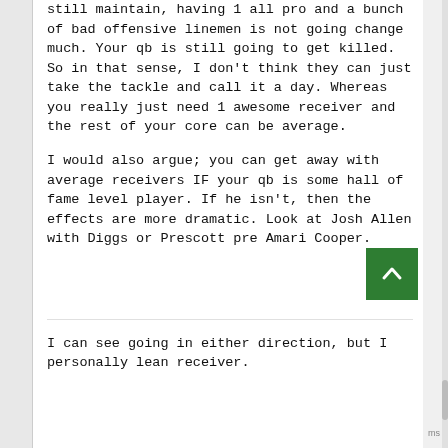still maintain, having 1 all pro and a bunch of bad offensive linemen is not going change much. Your qb is still going to get killed. So in that sense, I don't think they can just take the tackle and call it a day. Whereas you really just need 1 awesome receiver and the rest of your core can be average.
I would also argue; you can get away with average receivers IF your qb is some hall of fame level player. If he isn't, then the effects are more dramatic. Look at Josh Allen with Diggs or Prescott pre Amari Cooper.
I can see going in either direction, but I personally lean receiver.